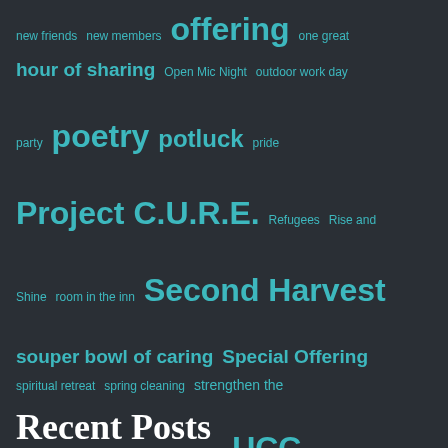[Figure (infographic): Tag cloud with terms in varying sizes on dark background including: new friends, new members, offering, one great hour of sharing, Open Mic Night, outdoor work day, party, poetry, potluck, pride, Project C.U.R.E., Refugees, Rise and Shine, room in the inn, Second Harvest, souper bowl of caring, Special Offering, spiritual retreat, spring cleaning, strengthen the church, sunday school, Thanksgiving, UCC, Upper Room, virtual meeting, volunteer, worship, Worship and Gathering, yoga, yoga class]
Recent Posts